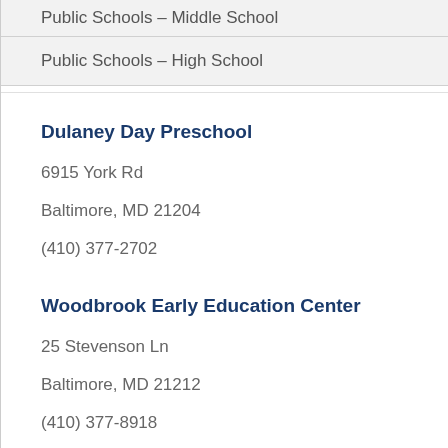Public Schools – Middle School
Public Schools – High School
Dulaney Day Preschool
6915 York Rd
Baltimore, MD 21204
(410) 377-2702
Woodbrook Early Education Center
25 Stevenson Ln
Baltimore, MD 21212
(410) 377-8918